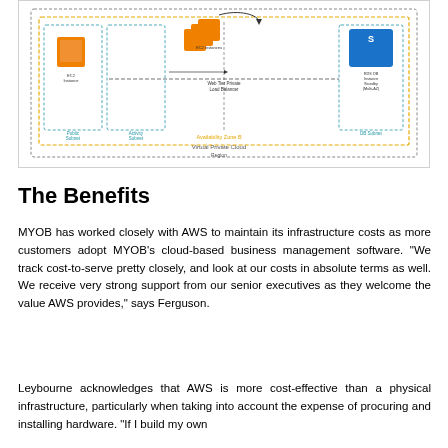[Figure (engineering-diagram): AWS architecture diagram showing EC2 instances, load balancer, RDS database with standby, across Availability Zones within a Virtual Private Cloud (VPC). Shows Public Subnet, Private Subnet, Web Tier, Application Tier, and DB Subnet with multiple availability zones.]
The Benefits
MYOB has worked closely with AWS to maintain its infrastructure costs as more customers adopt MYOB’s cloud-based business management software. “We track cost-to-serve pretty closely, and look at our costs in absolute terms as well. We receive very strong support from our senior executives as they welcome the value AWS provides,” says Ferguson.
Leybourne acknowledges that AWS is more cost-effective than a physical infrastructure, particularly when taking into account the expense of procuring and installing hardware. “If I build my own